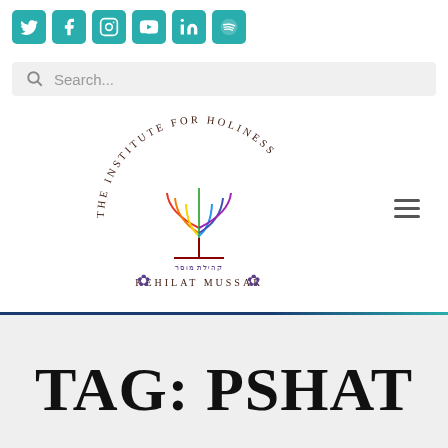[Figure (logo): Social media icon buttons: Twitter, Facebook, Instagram, YouTube, LinkedIn, Spotify — teal square icons in a row]
[Figure (screenshot): Search bar with magnifying glass icon and placeholder text 'Search...']
[Figure (logo): The Institute for Holiness / Kehilat Mussar logo — circular text around a rainbow menorah, with lotus flowers and Hebrew text underneath]
TAG: PSHAT